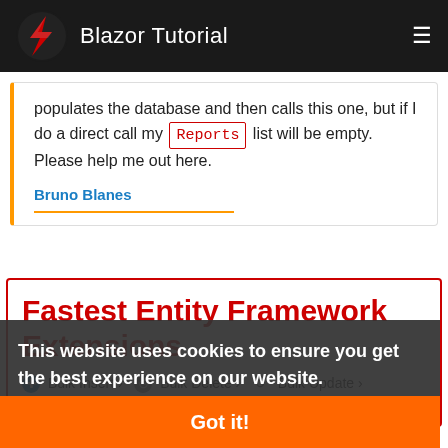Blazor Tutorial
populates the database and then calls this one, but if I do a direct call my Reports list will be empty. Please help me out here.
Bruno Blanes
Fastest Entity Framework Extensions
Bulk Insert > Bulk Delete > Bulk Update > Bulk Merge >
This website uses cookies to ensure you get the best experience on our website.
Learn more
Got it!